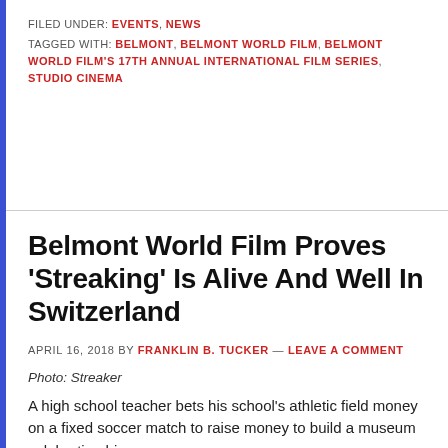FILED UNDER: EVENTS, NEWS
TAGGED WITH: BELMONT, BELMONT WORLD FILM, BELMONT WORLD FILM'S 17TH ANNUAL INTERNATIONAL FILM SERIES, STUDIO CINEMA
Belmont World Film Proves 'Streaking' Is Alive And Well In Switzerland
APRIL 16, 2018 BY FRANKLIN B. TUCKER — LEAVE A COMMENT
Photo: Streaker
A high school teacher bets his school's athletic field money on a fixed soccer match to raise money to build a museum celebrating his…